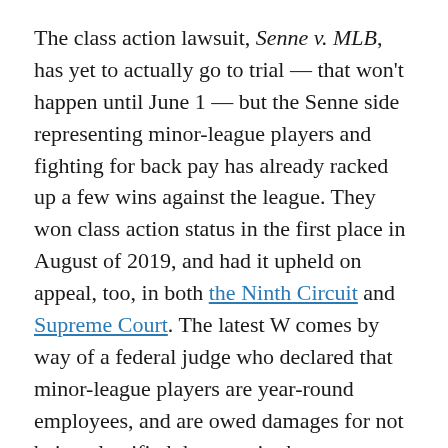The class action lawsuit, Senne v. MLB, has yet to actually go to trial — that won't happen until June 1 — but the Senne side representing minor-league players and fighting for back pay has already racked up a few wins against the league. They won class action status in the first place in August of 2019, and had it upheld on appeal, too, in both the Ninth Circuit and Supreme Court. The latest W comes by way of a federal judge who declared that minor-league players are year-round employees, and are owed damages for not being classified that way in the past.
The Athletic's Evan Drellich reported the news on Tuesday night, and included info on